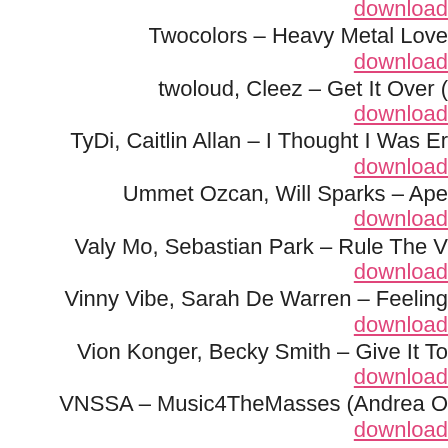download
Twocolors – Heavy Metal Love
download
twoloud, Cleez – Get It Over (
download
TyDi, Caitlin Allan – I Thought I Was Er
download
Ummet Ozcan, Will Sparks – Ape
download
Valy Mo, Sebastian Park – Rule The V
download
Vinny Vibe, Sarah De Warren – Feeling
download
Vion Konger, Becky Smith – Give It To
download
VNSSA – Music4TheMasses (Andrea O
download
Vorso – 2082 (Origina
download
W&W, Harris & Ford, Special D – Come
download
Wh0, Zirretta – Show Me Your Lo
download